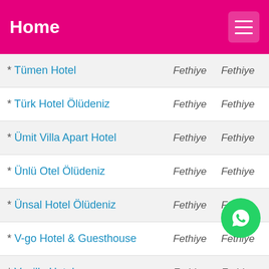Home
* Tümen Hotel   Fethiye   Fethiye
* Türk Hotel Ölüdeniz   Fethiye   Fethiye
* Ümit Villa Apart Hotel   Fethiye   Fethiye
* Ünlü Otel Ölüdeniz   Fethiye   Fethiye
* Ünsal Hotel Ölüdeniz   Fethiye   Fethiye
* V-go Hotel & Guesthouse   Fethiye   Fethiye
* Vanilla Hotel   Fethiye   Fethiye
* Vento Boutique Hotel   Fethiye   Fethiye